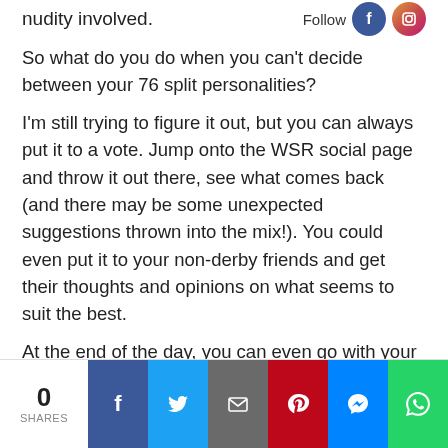nudity involved.
[Figure (logo): Follow text with Facebook and Instagram social media icons]
So what do you do when you can't decide between your 76 split personalities?
I'm still trying to figure it out, but you can always put it to a vote. Jump onto the WSR social page and throw it out there, see what comes back (and there may be some unexpected suggestions thrown into the mix!). You could even put it to your non-derby friends and get their thoughts and opinions on what seems to suit the best.
At the end of the day, you can even go with your own name, more and more people are doing it and there's no shame in not being able to settle on a name.
But if you're like me and are looking for something cool and catchy,
0 SHARES [Facebook] [Twitter] [Email] [Pinterest] [Messenger] [WhatsApp]